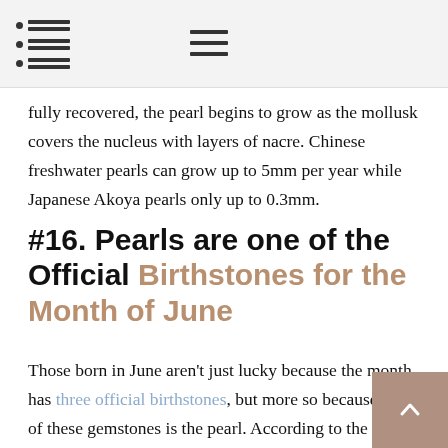[Navigation header with TOC icon and hamburger menu]
fully recovered, the pearl begins to grow as the mollusk covers the nucleus with layers of nacre. Chinese freshwater pearls can grow up to 5mm per year while Japanese Akoya pearls only up to 0.3mm.
#16. Pearls are one of the Official Birthstones for the Month of June
Those born in June aren't just lucky because the month has three official birthstones, but more so because one of these gemstones is the pearl. According to the legend the June birthstone is believed to symbolize purity, clarity,